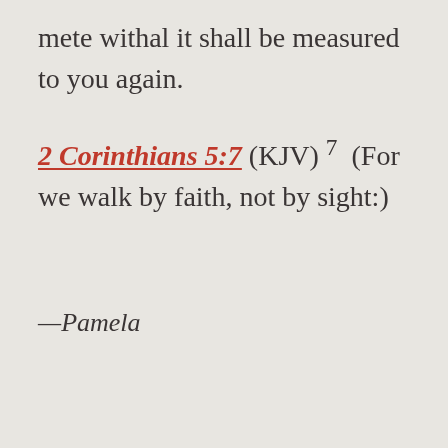mete withal it shall be measured to you again.
2 Corinthians 5:7 (KJV) 7  (For we walk by faith, not by sight:)
—Pamela